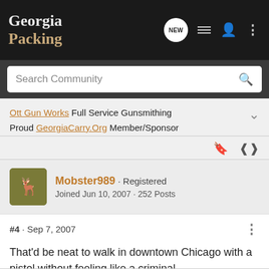Georgia Packing
Ott Gun Works Full Service Gunsmithing Proud GeorgiaCarry.Org Member/Sponsor
Mobster989 · Registered
Joined Jun 10, 2007 · 252 Posts
#4 · Sep 7, 2007
That'd be neat to walk in downtown Chicago with a pistol without feeling like a criminal.